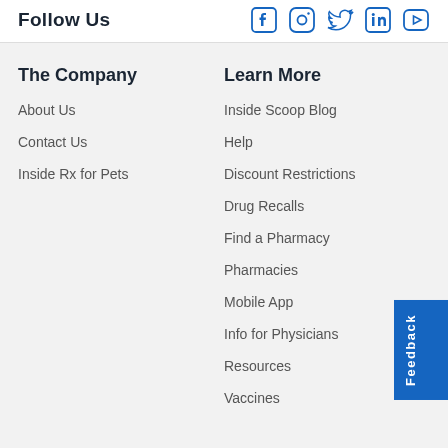Follow Us
The Company
About Us
Contact Us
Inside Rx for Pets
Learn More
Inside Scoop Blog
Help
Discount Restrictions
Drug Recalls
Find a Pharmacy
Pharmacies
Mobile App
Info for Physicians
Resources
Vaccines